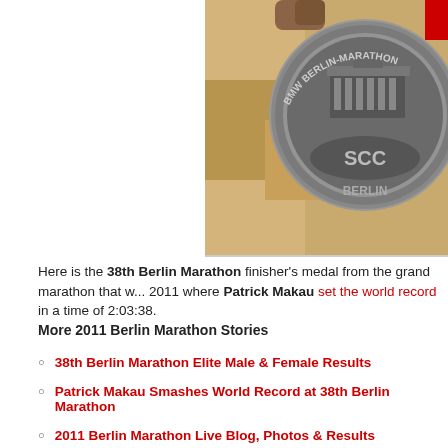[Figure (photo): Close-up photo of the 38th BMW Berlin Marathon finisher's medal featuring Brandenburg Gate and SCC Berlin text on a metallic coin, resting on what appears to be a furry surface.]
Here is the 38th Berlin Marathon finisher's medal from the grand marathon that w... 2011 where Patrick Makau set the world record in a time of 2:03:38.
More 2011 Berlin Marathon Stories
38th Berlin Marathon Elite Male & Female Results
Patrick Makau Smashes World Record at 38th Berlin Marathon
2011 Berlin Marathon Live Blog, Photos & Results